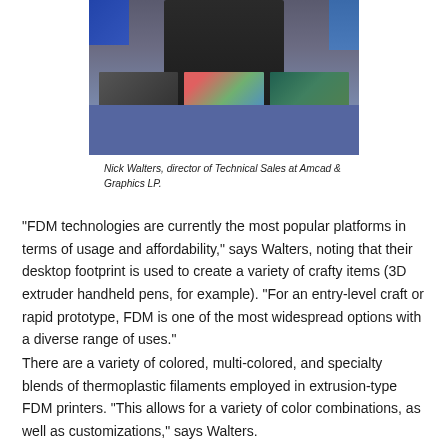[Figure (photo): Nick Walters, director of Technical Sales at Amcad & Graphics LP, seated behind a desk with printed materials]
Nick Walters, director of Technical Sales at Amcad & Graphics LP.
“FDM technologies are currently the most popular platforms in terms of usage and affordability,” says Walters, noting that their desktop footprint is used to create a variety of crafty items (3D extruder handheld pens, for example). “For an entry-level craft or rapid prototype, FDM is one of the most widespread options with a diverse range of uses.”
There are a variety of colored, multi-colored, and specialty blends of thermoplastic filaments employed in extrusion-type FDM printers. “This allows for a variety of color combinations, as well as customizations,” says Walters.